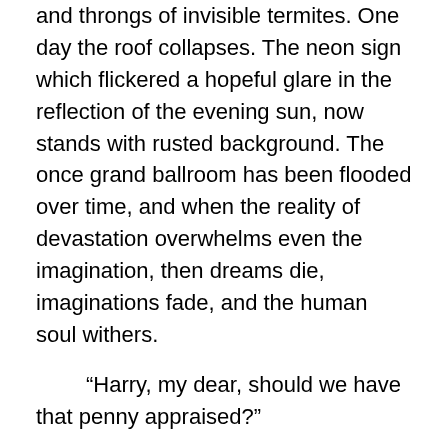and throngs of invisible termites.  One day the roof collapses.  The neon sign which flickered a hopeful glare in the reflection of the evening sun, now stands with rusted background.  The once grand ballroom has been flooded over time, and when the reality of devastation overwhelms even the imagination, then dreams die, imaginations fade, and the human soul withers.
“Harry, my dear, should we have that penny appraised?”
“Never, my dear, for one day we may decide to sell it and retire into the sunset.”
Poor Maybelle.  She had such a look of puzzlement. “But we’re retired, now…”
Harry gave a sly smile; a knowing look, a mischievous